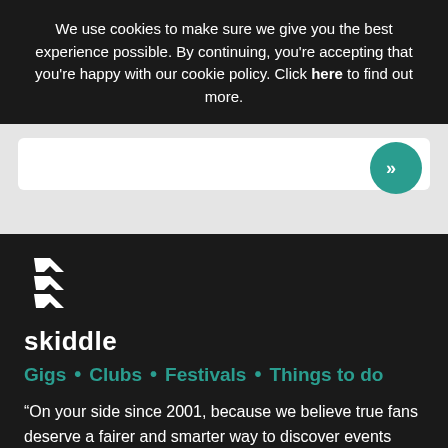We use cookies to make sure we give you the best experience possible. By continuing, you're accepting that you're happy with our cookie policy. Click here to find out more.
[Figure (screenshot): Search input box with a teal circular arrow/submit button on the right]
[Figure (logo): Skiddle logo: white geometric zigzag/chevron icon above the word 'skiddle' in white lowercase text]
Gigs • Clubs • Festivals • Things to do
“On your side since 2001, because we believe true fans deserve a fairer and smarter way to discover events they love.”